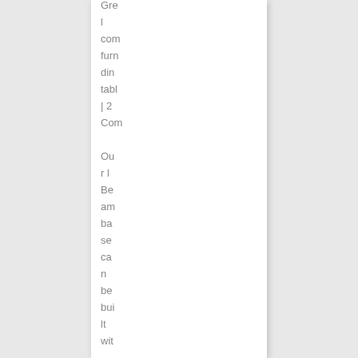Gre l com furn din tabl | 2 Com Our l Be am ba se ca n be bui lt wit